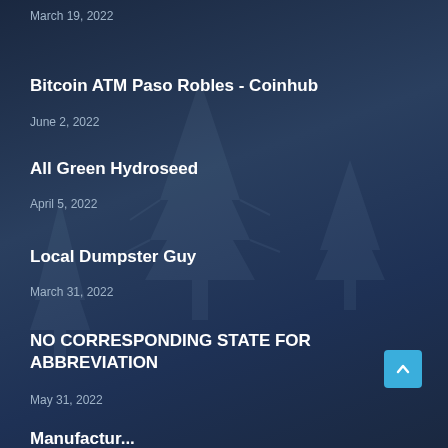March 19, 2022
Bitcoin ATM Paso Robles - Coinhub
June 2, 2022
All Green Hydroseed
April 5, 2022
Local Dumpster Guy
March 31, 2022
NO CORRESPONDING STATE FOR ABBREVIATION
May 31, 2022
Manufactur...